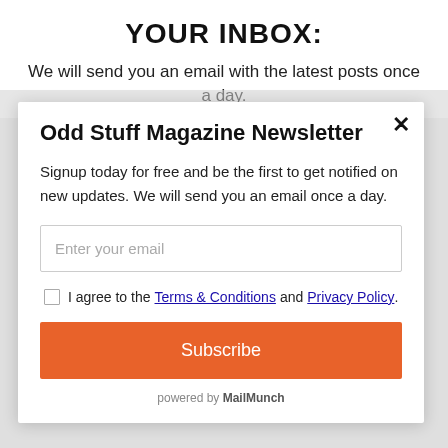YOUR INBOX:
We will send you an email with the latest posts once a day.
Odd Stuff Magazine Newsletter
Signup today for free and be the first to get notified on new updates. We will send you an email once a day.
Enter your email
I agree to the Terms & Conditions and Privacy Policy.
Subscribe
powered by MailMunch